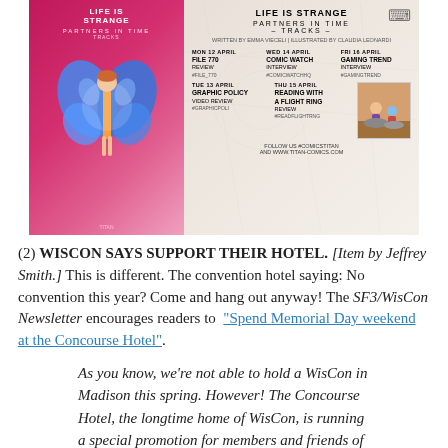[Figure (illustration): Promotional image for 'Life is Strange: Partners in Time – Tracks' comic book. Left side shows the book cover with a girl with blue butterfly wings on a pink background. Right side shows a schedule of media appearances: Mon 12 April File 770 Review #FILE_770; Tue 13 April Graphic Policy Video Review #GRAPHICPOLI; Wed 14 April Comic Watch Interview #COMICWATCHHQ; Thu 15 April Reading with a Flight Ring Review #READFLIGHTRNG; Fri 16 April Gaming Trend Interview #GAMINGTREND. Bottom text: FOLLOW US #COMICSTITAN AND WWW.TITAN-COMICS.COM]
(2) WISCON SAYS SUPPORT THEIR HOTEL. [Item by Jeffrey Smith.] This is different. The convention hotel saying: No convention this year? Come and hang out anyway! The SF3/WisCon Newsletter encourages readers to “Spend Memorial Day weekend at the Concourse Hotel”.
As you know, we’re not able to hold a WisCon in Madison this spring. However! The Concourse Hotel, the longtime home of WisCon, is running a special promotion for members and friends of the WisCon community over Memorial Day weekend, May 27-31, 2021